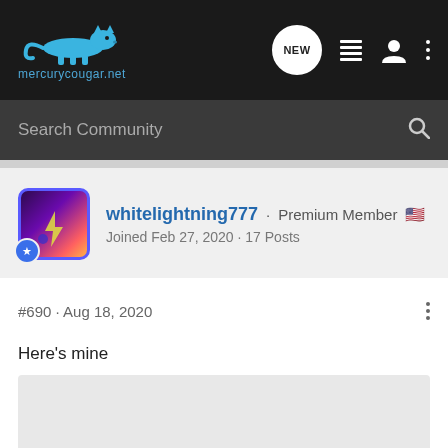mercurycougar.net — navigation bar with logo, NEW button, list icon, user icon, dots menu
Search Community
whitelightning777 · Premium Member
Joined Feb 27, 2020 · 17 Posts
#690 · Aug 18, 2020
Here's mine
[Figure (photo): User-uploaded photo, partially visible at bottom of page, light gray placeholder]